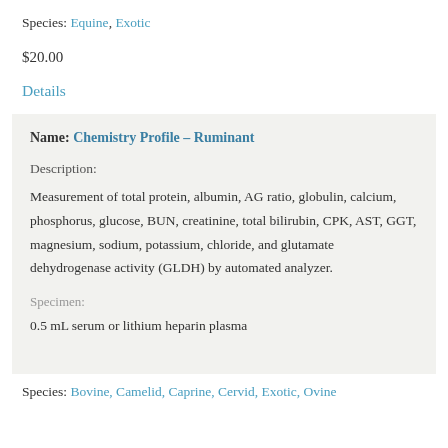Species: Equine, Exotic
$20.00
Details
Name: Chemistry Profile – Ruminant
Description:
Measurement of total protein, albumin, AG ratio, globulin, calcium, phosphorus, glucose, BUN, creatinine, total bilirubin, CPK, AST, GGT, magnesium, sodium, potassium, chloride, and glutamate dehydrogenase activity (GLDH) by automated analyzer.
Specimen:
0.5 mL serum or lithium heparin plasma
Species: Bovine, Camelid, Caprine, Cervid, Exotic, Ovine